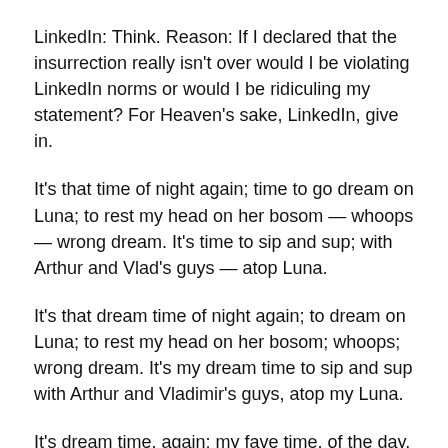LinkedIn: Think. Reason: If I declared that the insurrection really isn't over would I be violating LinkedIn norms or would I be ridiculing my statement? For Heaven's sake, LinkedIn, give in.
It's that time of night again; time to go dream on Luna; to rest my head on her bosom — whoops — wrong dream. It's time to sip and sup; with Arthur and Vlad's guys — atop Luna.
It's that dream time of night again; to dream on Luna; to rest my head on her bosom; whoops; wrong dream. It's my dream time to sip and sup with Arthur and Vladimir's guys, atop my Luna.
It's dream time, again; my fave time, of the day. Once upon a time it was time to kick my shoes off and watch